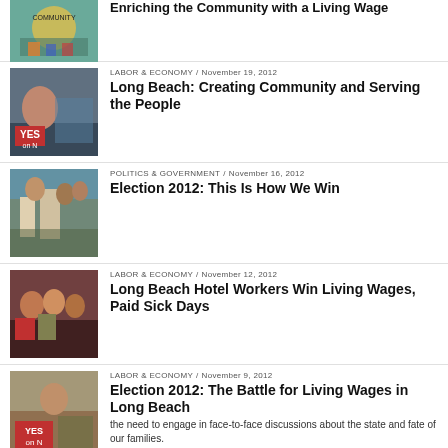[Figure (photo): Colorful community mural/illustration thumbnail]
Enriching the Community with a Living Wage
[Figure (photo): Person holding YES on N sign near ship]
LABOR & ECONOMY / November 19, 2012
Long Beach: Creating Community and Serving the People
[Figure (photo): Crowd at outdoor political rally]
POLITICS & GOVERNMENT / November 16, 2012
Election 2012: This Is How We Win
[Figure (photo): Group of workers celebrating]
LABOR & ECONOMY / November 12, 2012
Long Beach Hotel Workers Win Living Wages, Paid Sick Days
[Figure (photo): Person holding YES on N sign]
LABOR & ECONOMY / November 9, 2012
Election 2012: The Battle for Living Wages in Long Beach
the need to engage in face-to-face discussions about the state and fate of our families.